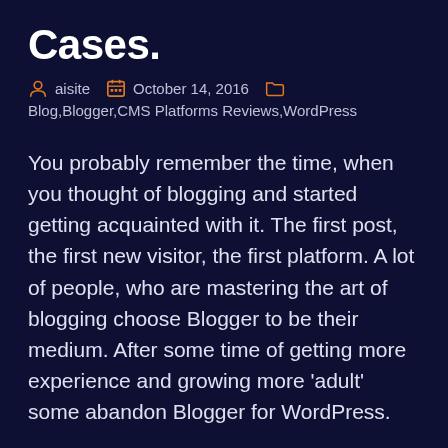Cases.
aisite  October 14, 2016  Blog,Blogger,CMS Platforms Reviews,WordPress
You probably remember the time, when you thought of blogging and started getting acquainted with it. The first post, the first new visitor, the first platform. A lot of people, who are mastering the art of blogging choose Blogger to be their medium. After some time of getting more experience and growing more 'adult' some abandon Blogger for WordPress.